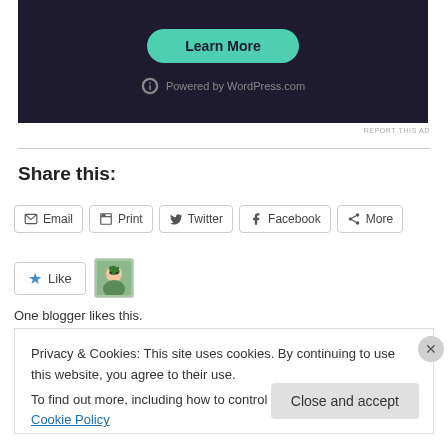[Figure (screenshot): Dark-themed WordPress.com advertisement banner with a teal 'Learn More' button and 'Powered by WordPress.com' text at the bottom]
REPORT THIS AD
Share this:
Email
Print
Twitter
Facebook
More
[Figure (illustration): Like button with blue star and blogger avatar thumbnail]
One blogger likes this.
Privacy & Cookies: This site uses cookies. By continuing to use this website, you agree to their use.
To find out more, including how to control cookies, see here: Cookie Policy